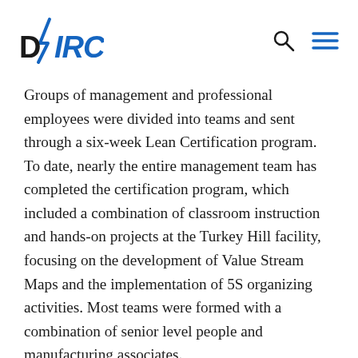DVIRC
Groups of management and professional employees were divided into teams and sent through a six-week Lean Certification program. To date, nearly the entire management team has completed the certification program, which included a combination of classroom instruction and hands-on projects at the Turkey Hill facility, focusing on the development of Value Stream Maps and the implementation of 5S organizing activities. Most teams were formed with a combination of senior level people and manufacturing associates.